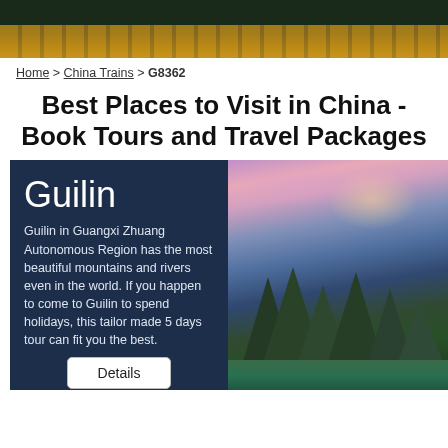[Figure (photo): Aerial view of Chinese palace/temple complex with traditional rooftops, dark green and gold colors]
Home > China Trains > G8362
Best Places to Visit in China - Book Tours and Travel Packages
Guilin
Guilin in Guangxi Zhuang Autonomous Region has the most beautiful mountains and rivers even in the world. If you happen to come to Guilin to spend holidays, this tailor made 5 days tour can fit you the best.
[Figure (photo): Scenic landscape photo of Guilin karst mountains with river at sunset, pink and purple sky]